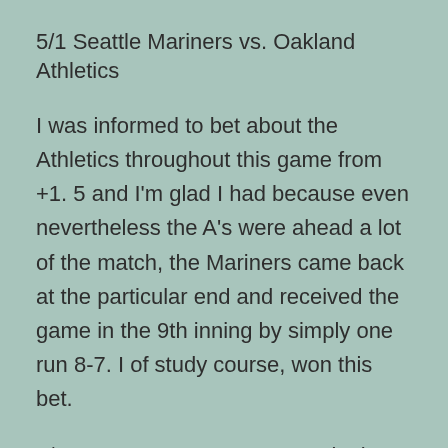5/1 Seattle Mariners vs. Oakland Athletics
I was informed to bet about the Athletics throughout this game from +1. 5 and I'm glad I had because even nevertheless the A's were ahead a lot of the match, the Mariners came back at the particular end and received the game in the 9th inning by simply one run 8-7. I of study course, won this bet.
5/21 Texas Rangers vs . Detroit Tigers
The Rangers had been the underdog from +1